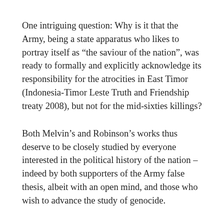One intriguing question: Why is it that the Army, being a state apparatus who likes to portray itself as “the saviour of the nation”, was ready to formally and explicitly acknowledge its responsibility for the atrocities in East Timor (Indonesia-Timor Leste Truth and Friendship treaty 2008), but not for the mid-sixties killings?
Both Melvin’s and Robinson’s works thus deserve to be closely studied by everyone interested in the political history of the nation – indeed by both supporters of the Army false thesis, albeit with an open mind, and those who wish to advance the study of genocide.